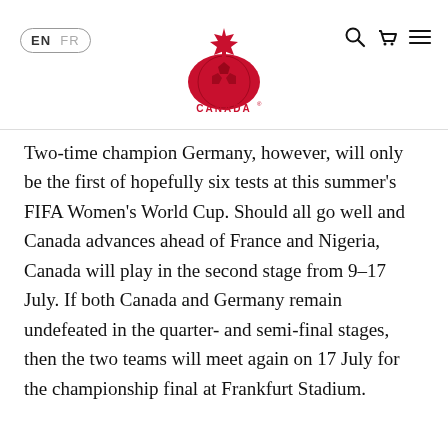EN FR — Canada Soccer logo — search, cart, menu icons
Two-time champion Germany, however, will only be the first of hopefully six tests at this summer's FIFA Women's World Cup. Should all go well and Canada advances ahead of France and Nigeria, Canada will play in the second stage from 9–17 July. If both Canada and Germany remain undefeated in the quarter- and semi-final stages, then the two teams will meet again on 17 July for the championship final at Frankfurt Stadium.